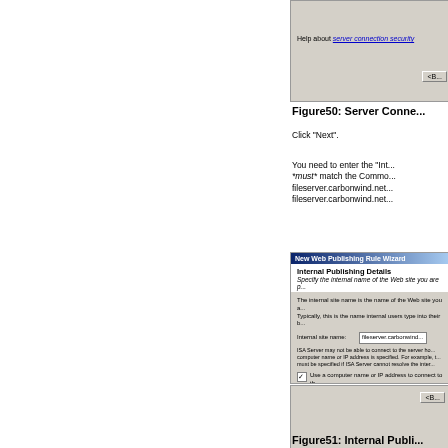[Figure (screenshot): Top portion of a Windows dialog screenshot showing 'Help about server connection security' link]
Figure50: Server Conne...
Click "Next".
You need to enter the "Int... *must* match the Commo... fileserver.carbonwind.net... fileserver.carbonwind.net...
[Figure (screenshot): New Web Publishing Rule Wizard dialog showing Internal Publishing Details with Internal site name field set to fileserver.carbonwind.net and Computer name or IP address field set to 192.168.30...]
[Figure (screenshot): Bottom strip of screenshot with close button]
Figure51: Internal Publi...